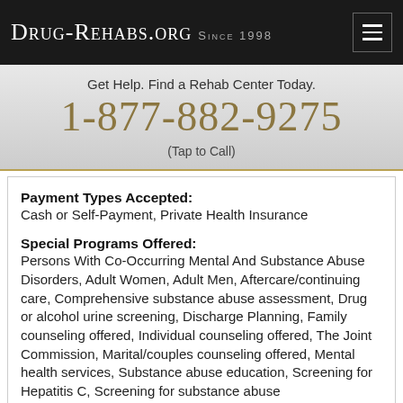Drug-Rehabs.org Since 1998
Get Help. Find a Rehab Center Today.
1-877-882-9275
(Tap to Call)
Payment Types Accepted:
Cash or Self-Payment, Private Health Insurance
Special Programs Offered:
Persons With Co-Occurring Mental And Substance Abuse Disorders, Adult Women, Adult Men, Aftercare/continuing care, Comprehensive substance abuse assessment, Drug or alcohol urine screening, Discharge Planning, Family counseling offered, Individual counseling offered, The Joint Commission, Marital/couples counseling offered, Mental health services, Substance abuse education, Screening for Hepatitis C, Screening for substance abuse
Age Groups Accepted: